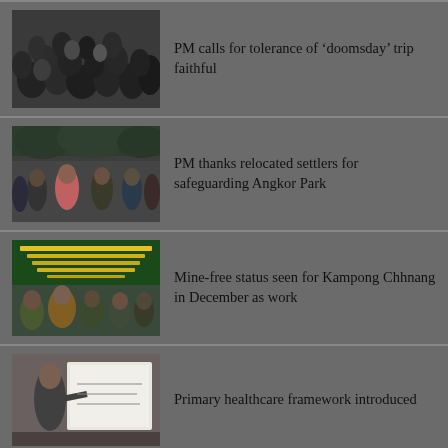[Figure (photo): Crowd of people gathered outdoors, aerial/overhead view]
PM calls for tolerance of 'doomsday' trip faithful
[Figure (photo): Group of people including a person in pink shirt, outdoor setting with trees]
PM thanks relocated settlers for safeguarding Angkor Park
[Figure (photo): Outdoor event with text banner in Khmer, people seated and standing]
Mine-free status seen for Kampong Chhnang in December as work
[Figure (photo): Person presenting at a whiteboard or display board indoors]
Primary healthcare framework introduced